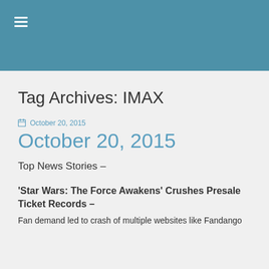≡
Tag Archives: IMAX
October 20, 2015
October 20, 2015
Top News Stories –
'Star Wars: The Force Awakens' Crushes Presale Ticket Records –
Fan demand led to crash of multiple websites like Fandango